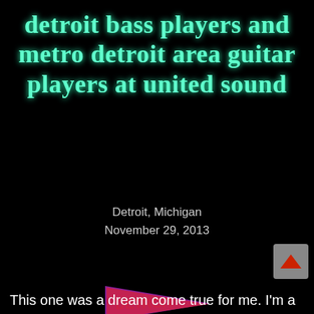detroit bass players and metro detroit area guitar players at united sound
Detroit, Michigan
November 29, 2013
[Figure (illustration): Cartoon illustration of a person in a blue outfit and hat with sunglasses, holding up a triangular 'DETROIT' pennant flag, with a purple glow at the base. A red circle button with a white down arrow labeled 'MENU' appears to the right.]
This one was a dream come true for me. I'm a